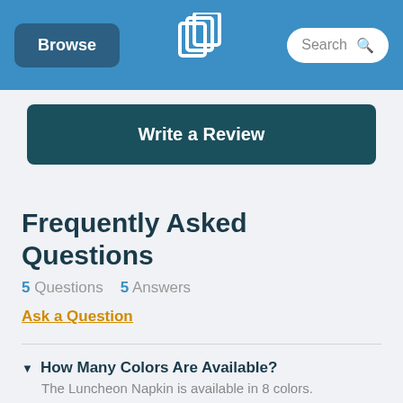Browse | [logo] | Search
Write a Review
Frequently Asked Questions
5 Questions   5 Answers
Ask a Question
▼ How Many Colors Are Available?
The Luncheon Napkin is available in 8 colors.
▶ Which Colors Are Available?